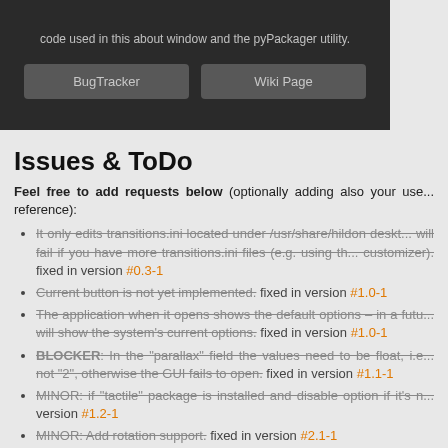[Figure (screenshot): Dark UI screenshot showing BugTracker and Wiki Page buttons with text about code used in this about window and the pyPackager utility.]
Issues & ToDo
Feel free to add requests below (optionally adding also your user reference):
It only edits transitions.ini located under /usr/share/hildon deskt... will fail if you have more transitions.ini files (e.g. using th... customizer). fixed in version #0.3-1
Current button is not yet implemented. fixed in version #1.0-1
The application when it opens shows the default options – in a fut... will show the system's current options. fixed in version #1.0-1
BLOCKER: In the "parallax" field the values need to be float, i.e... not "2", otherwise the GUI fails to open. fixed in version #1.1-1
MINOR: if "tactile" package is installed and disable option if it's n... version #1.2-1
MINOR: Add rotation support. fixed in version #2.1-1
Enhancement: The application should reside in the Settin... Personalisation. At the moment it is in the applications...